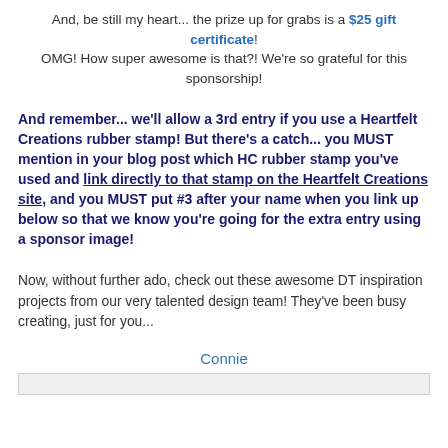And, be still my heart... the prize up for grabs is a $25 gift certificate! OMG! How super awesome is that?! We're so grateful for this sponsorship!
And remember... we'll allow a 3rd entry if you use a Heartfelt Creations rubber stamp! But there's a catch... you MUST mention in your blog post which HC rubber stamp you've used and link directly to that stamp on the Heartfelt Creations site, and you MUST put #3 after your name when you link up below so that we know you're going for the extra entry using a sponsor image!
Now, without further ado, check out these awesome DT inspiration projects from our very talented design team! They've been busy creating, just for you...
Connie